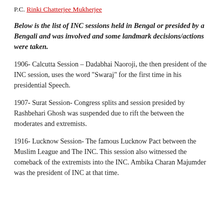P.C. Rinki Chatterjee Mukherjee
Below is the list of INC sessions held in Bengal or presided by a Bengali and was involved and some landmark decisions/actions were taken.
1906- Calcutta Session – Dadabhai Naoroji, the then president of the INC session, uses the word "Swaraj" for the first time in his presidential Speech.
1907- Surat Session- Congress splits and session presided by Rashbehari Ghosh was suspended due to rift the between the moderates and extremists.
1916- Lucknow Session- The famous Lucknow Pact between the Muslim League and The INC. This session also witnessed the comeback of the extremists into the INC. Ambika Charan Majumder was the president of INC at that time.